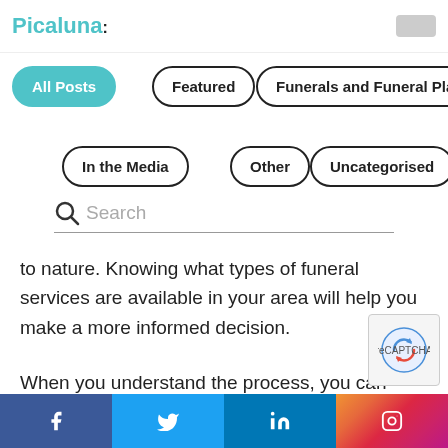Picaluna
All Posts
Featured
Funerals and Funeral Planning
In the Media
Other
Uncategorised
Search
to nature. Knowing what types of funeral services are available in your area will help you make a more informed decision.
When you understand the process, you can make better decisions for honoring your loved one. Picaluna Funeral Services will guide you through the steps and will be